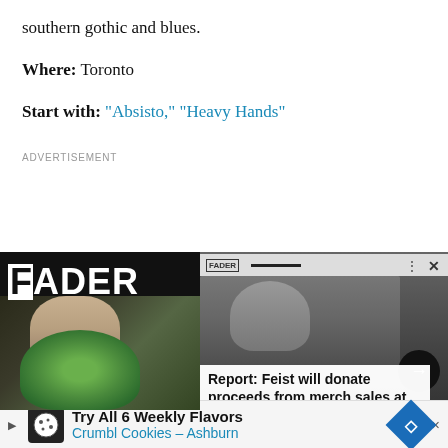southern gothic and blues.
Where: Toronto
Start with: "Absisto," "Heavy Hands"
ADVERTISEMENT
[Figure (screenshot): FADER magazine advertisement showing two panels: left panel with Billie Eilish holding a green plush toy against dark background with FADER logo; right panel in black and white showing a female artist with caption 'Report: Feist will donate proceeds from merch sales at']
[Figure (screenshot): Bottom advertisement bar: Crumbl Cookies - Ashburn ad with cookie icon, text 'Try All 6 Weekly Flavors' and 'Crumbl Cookies - Ashburn', blue diamond navigation icon]